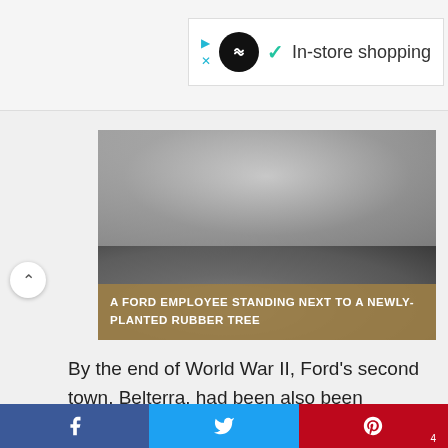[Figure (screenshot): Ad banner in top right showing a circular black icon with infinity/loop symbol, play and close buttons in teal, checkmark in teal, and text 'In-store shopping']
[Figure (photo): Black and white photograph of a Ford employee standing next to a newly-planted rubber tree]
A FORD EMPLOYEE STANDING NEXT TO A NEWLY-PLANTED RUBBER TREE
By the end of World War II, Ford's second town, Belterra, had been also been abandoned as it became clear there was no profit to be made cultivating trees in or anywhere around Fordlândia. By 1945, the Japanese market had created a new synthetic rubber, and Ford's huge South American investment dried up overnight without producing any rubber for his
[Figure (screenshot): Social share bar at bottom: Facebook (blue), Twitter (light blue), Pinterest (red with number 4)]